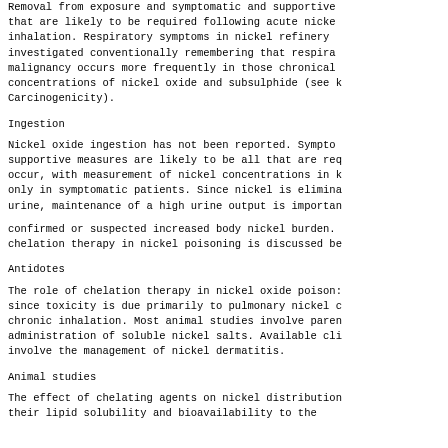Removal from exposure and symptomatic and supportive that are likely to be required following acute nicke inhalation. Respiratory symptoms in nickel refinery investigated conventionally remembering that respira malignancy occurs more frequently in those chronical concentrations of nickel oxide and subsulphide (see Carcinogenicity).
Ingestion
Nickel oxide ingestion has not been reported. Sympto supportive measures are likely to be all that are re occur, with measurement of nickel concentrations in only in symptomatic patients. Since nickel is elimina urine, maintenance of a high urine output is importa
confirmed or suspected increased body nickel burden. chelation therapy in nickel poisoning is discussed be
Antidotes
The role of chelation therapy in nickel oxide poison since toxicity is due primarily to pulmonary nickel chronic inhalation. Most animal studies involve pare administration of soluble nickel salts. Available cl involve the management of nickel dermatitis.
Animal studies
The effect of chelating agents on nickel distribution their lipid solubility and bioavailability to the